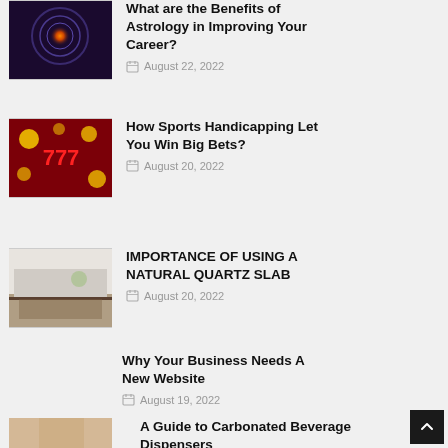What are the Benefits of Astrology in Improving Your Career?
How Sports Handicapping Let You Win Big Bets?
IMPORTANCE OF USING A NATURAL QUARTZ SLAB
Why Your Business Needs A New Website
A Guide to Carbonated Beverage Dispensers